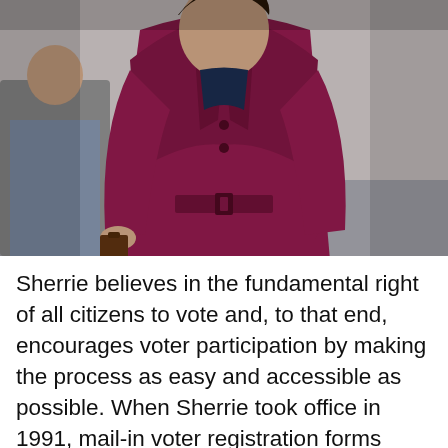[Figure (photo): A woman wearing a dark magenta/burgundy belted blazer jacket, standing indoors. Another person is visible seated in the background.]
Sherrie believes in the fundamental right of all citizens to vote and, to that end, encourages voter participation by making the process as easy and accessible as possible. When Sherrie took office in 1991, mail-in voter registration forms were not available to County citizens. She immediately placed the forms in counter-top display boxes in hundreds of locations throughout the County. By simply displaying the voter registration forms in post